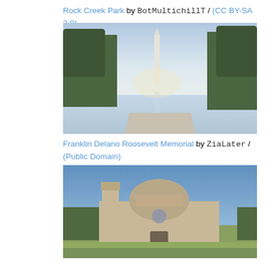Rock Creek Park by BotMultichillT / (CC BY-SA 3.0)
[Figure (photo): Washington Monument viewed through trees with water reflection, Franklin Delano Roosevelt Memorial area]
Franklin Delano Roosevelt Memorial by ZiaLater / (Public Domain)
[Figure (photo): Basilica of the National Shrine of the Immaculate Conception - large stone cathedral with dome and bell tower against blue sky]
Basilica of the National Shrine of the Immaculate Conception by APK / (CC BY-SA 3.0)
[Figure (photo): Aerial view of Washington DC with monument and park visible]